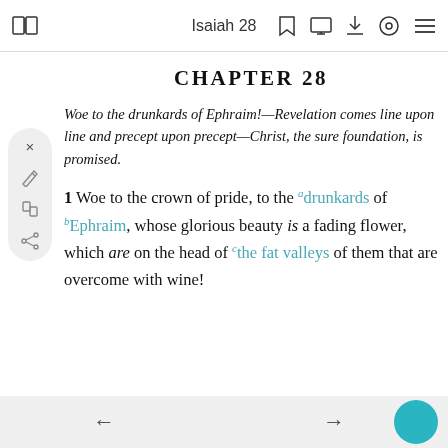Isaiah 28
CHAPTER 28
Woe to the drunkards of Ephraim!—Revelation comes line upon line and precept upon precept—Christ, the sure foundation, is promised.
1 Woe to the crown of pride, to the drunkards of Ephraim, whose glorious beauty is a fading flower, which are on the head of the fat valleys of them that are overcome with wine!
← →